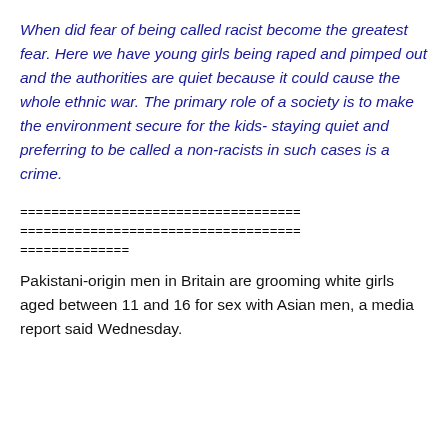When did fear of being called racist become the greatest fear. Here we have young girls being raped and pimped out and the authorities are quiet because it could cause the whole ethnic war. The primary role of a society is to make the environment secure for the kids- staying quiet and preferring to be called a non-racists in such cases is a crime.
============================================================ ============================================================ ==============
Pakistani-origin men in Britain are grooming white girls aged between 11 and 16 for sex with Asian men, a media report said Wednesday.